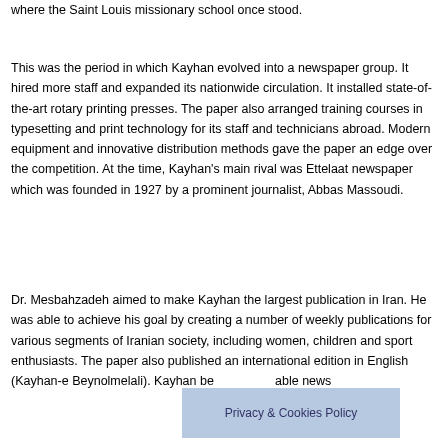where the Saint Louis missionary school once stood.
This was the period in which Kayhan evolved into a newspaper group. It hired more staff and expanded its nationwide circulation. It installed state-of-the-art rotary printing presses. The paper also arranged training courses in typesetting and print technology for its staff and technicians abroad. Modern equipment and innovative distribution methods gave the paper an edge over the competition. At the time, Kayhan's main rival was Ettelaat newspaper which was founded in 1927 by a prominent journalist, Abbas Massoudi.
Dr. Mesbahzadeh aimed to make Kayhan the largest publication in Iran. He was able to achieve his goal by creating a number of weekly publications for various segments of Iranian society, including women, children and sport enthusiasts. The paper also published an international edition in English (Kayhan-e Beynolmelali). Kayhan be[came a reli]able news